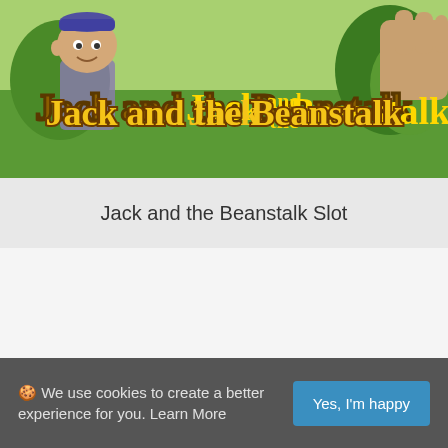[Figure (illustration): Jack and the Beanstalk slot game promotional image showing a cartoon boy character and golden styled title text 'Jack and the Beanstalk' on a green outdoor background]
Jack and the Beanstalk Slot
🍪 We use cookies to create a better experience for you. Learn More
Yes, I'm happy